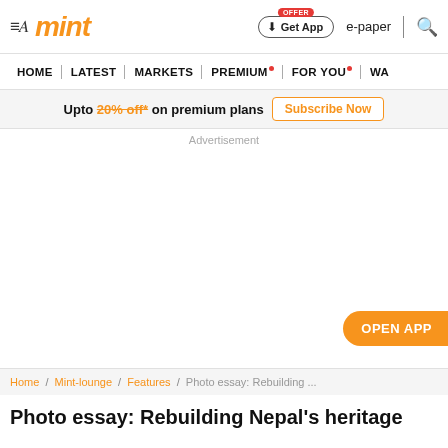mint
Upto 20% off* on premium plans  Subscribe Now
Advertisement
OPEN APP
Home / Mint-lounge / Features / Photo essay: Rebuilding ...
Photo essay: Rebuilding Nepal's heritage